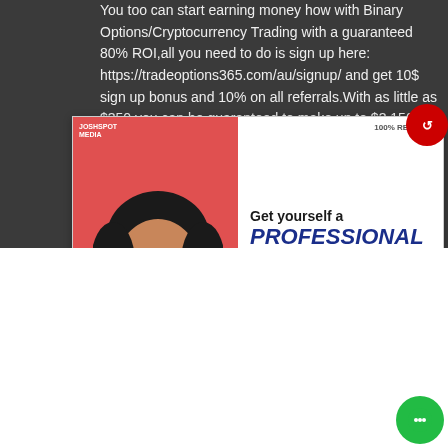You too can start earning money now with Binary Options/Cryptocurrency Trading with a guaranteed 80% ROI,all you need to do is sign up here: https://tradeoptions365.com/au/signup/ and get 10$ sign up bonus and 10% on all referrals.With as little as $350,you can be guaranteed to make up to $3,150 in a week...
[Figure (illustration): Advertisement banner for Joshspot Media: 'Get yourself a PROFESSIONAL WEBSITE at an affordable rate. 100% RELIABLE.' Pink/red left side with a person's image, white right side with blue bold text.]
UNKNOW
9 August 2019 at 17:29
This comment has been removed by a blog administrator.
Reply   Delete
▾ Replies
Reply
Add comment